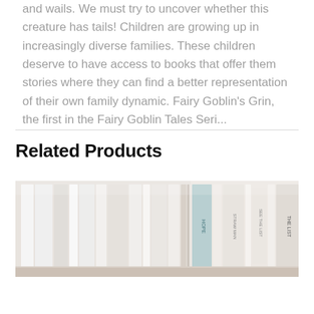and wails. We must try to uncover whether this creature has tails! Children are growing up in increasingly diverse families. These children deserve to have access to books that offer them stories where they can find a better representation of their own family dynamic. Fairy Goblin's Grin, the first in the Fairy Goblin Tales Seri...
Related Products
[Figure (photo): A row of books on a shelf viewed from the side, showing spines with muted colors — light blue, tan, pink tones. Visible text on spines includes 'HOPE', 'STRAW MAN', and 'THE LIST'.]